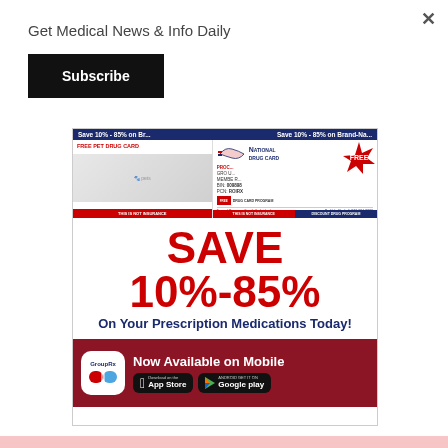Get Medical News & Info Daily
Subscribe
[Figure (infographic): National Drug Card advertisement. Shows drug cards for pets and people, with 'FREE PET DRUG CARD' label and National Drug Card logo with US map. Red FREE sticker badge in corner. Card details include BIN: 009898, PCN: ROIRX. Bottom sections say 'THIS IS NOT INSURANCE' and 'DISCOUNT DRUG PROGRAM'.]
SAVE 10%-85%
On Your Prescription Medications Today!
GroupRx Now Available on Mobile
Download on the App Store
ANDROID GET IT ON Google play